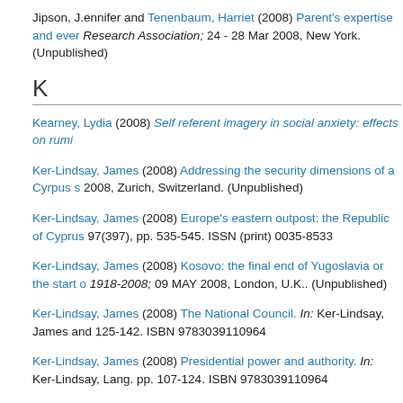Jipson, Jennifer and Tenenbaum, Harriet (2008) Parent's expertise and ever... Research Association; 24 - 28 Mar 2008, New York. (Unpublished)
K
Kearney, Lydia (2008) Self referent imagery in social anxiety: effects on rumi...
Ker-Lindsay, James (2008) Addressing the security dimensions of a Cyrpus s... 2008, Zurich, Switzerland. (Unpublished)
Ker-Lindsay, James (2008) Europe's eastern outpost: the Republic of Cyprus... 97(397), pp. 535-545. ISSN (print) 0035-8533
Ker-Lindsay, James (2008) Kosovo: the final end of Yugoslavia or the start o... 1918-2008; 09 MAY 2008, London, U.K.. (Unpublished)
Ker-Lindsay, James (2008) The National Council. In: Ker-Lindsay, James and... 125-142. ISBN 9783039110964
Ker-Lindsay, James (2008) Presidential power and authority. In: Ker-Lindsay... Lang. pp. 107-124. ISBN 9783039110964
Ker-Lindsay, James (2008) Turkey and Black Sea strategy for EU enlargeme...